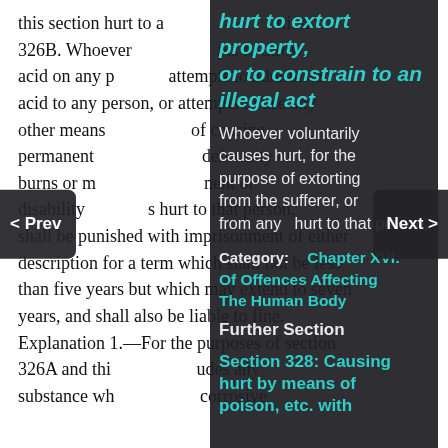this section hurt to a victim. 326B. Whoever throws or attempts to throw acid on any person, or attempts to administer acid to any person, or attempts to use any other means, with the intention of causing permanent disfiguration or deformity or burns or maiming, grievous hurt or permanent or disability causes hurt to that person, shall be punished with imprisonment of either description for a term which shall not be less than five years but which may extend to seven years, and shall also be liable to fine. Explanation 1.—For the purposes of section 326A and this section, includes any substance which is corrosive
[Figure (screenshot): Dark overlay tooltip panel showing: Title 'hurt to extort property, or to constrain to an illegal act' in teal italic bold. Body text 'Whoever voluntarily causes hurt, for the purpose of extorting from the sufferer, or from any person in whom the sufferer is interested, property or valuable security, or having done anything which is illegal, or who causes grievous hurt for any of the purposes aforesaid, shall be punished...' Category label 'Chapter XVI: Of Offences Affecting The Human Body'. Further Section label 'Section 328: Causing hurt by means of poison, etc. with intent to commit an offence'. Navigation buttons '< Prev' on left and 'Next >' on right.]